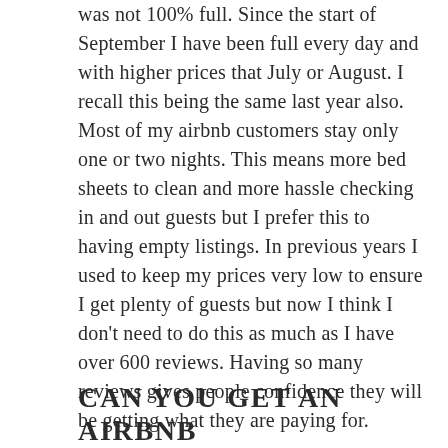was not 100% full. Since the start of September I have been full every day and with higher prices that July or August. I recall this being the same last year also. Most of my airbnb customers stay only one or two nights. This means more bed sheets to clean and more hassle checking in and out guests but I prefer this to having empty listings. In previous years I used to keep my prices very low to ensure I get plenty of guests but now I think I don't need to do this as much as I have over 600 reviews. Having so many reviews gives people confidence they will be getting what they are paying for.
CAN YOU GET AN AIRBNB